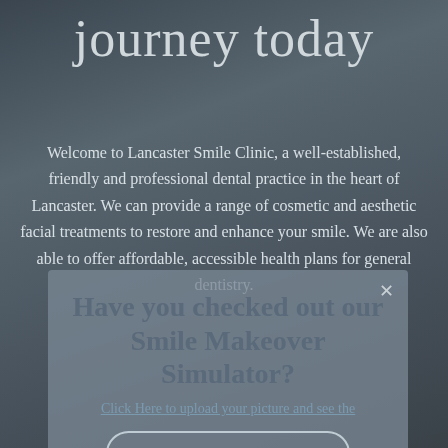journey today
Welcome to Lancaster Smile Clinic, a well-established, friendly and professional dental practice in the heart of Lancaster. We can provide a range of cosmetic and aesthetic facial treatments to restore and enhance your smile. We are also able to offer affordable, accessible health plans for general dentistry.
Have you checked out our Smile Makeover Simulator?
Click Here to upload your picture and see the
Book Free Consultation